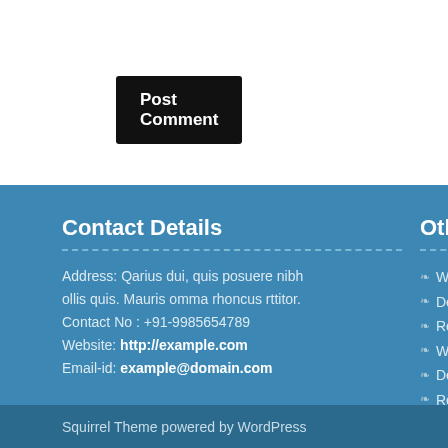Post Comment
Contact Details
Address: Qarius dui, quis posuere nibh ollis quis. Mauris omma rhoncus rttitor.
Contact No : +91-9985654789
Website: http://example.com
Email-id: example@domain.com
Other Useful
WordPress D
Developer D
Reporting B
WordPress D
Developer D
Reporting B
Squirrel Theme powered by WordPress